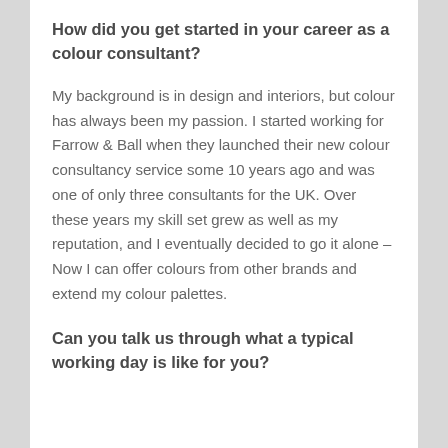How did you get started in your career as a colour consultant?
My background is in design and interiors, but colour has always been my passion. I started working for Farrow & Ball when they launched their new colour consultancy service some 10 years ago and was one of only three consultants for the UK. Over these years my skill set grew as well as my reputation, and I eventually decided to go it alone – Now I can offer colours from other brands and extend my colour palettes.
Can you talk us through what a typical working day is like for you?